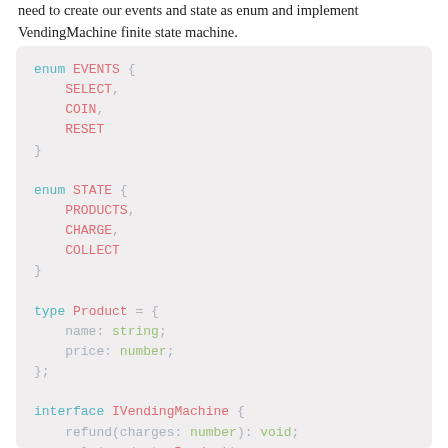need to create our events and state as enum and implement VendingMachine finite state machine.
[Figure (screenshot): Code block showing TypeScript enums and type definitions: enum EVENTS with SELECT, COIN, RESET; enum STATE with PRODUCTS, CHARGE, COLLECT; type Product with name and price fields; interface IVendingMachine with refund method and partial select method signature]